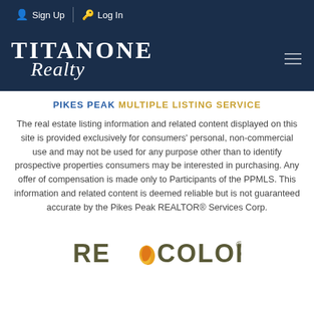Sign Up   Log In
[Figure (logo): TitanOne Realty logo in white text on dark navy blue background with hamburger menu icon]
PIKES PEAK MULTIPLE LISTING SERVICE
The real estate listing information and related content displayed on this site is provided exclusively for consumers' personal, non-commercial use and may not be used for any purpose other than to identify prospective properties consumers may be interested in purchasing. Any offer of compensation is made only to Participants of the PPMLS. This information and related content is deemed reliable but is not guaranteed accurate by the Pikes Peak REALTOR® Services Corp.
[Figure (logo): RE Colorado logo with orange teardrop/leaf shape between RE and COLORADO text, with registered trademark symbol]